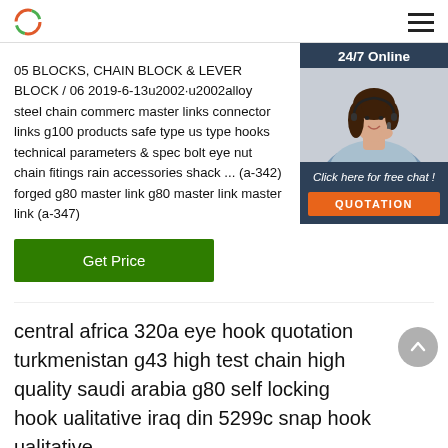[logo] [hamburger menu]
05 BLOCKS, CHAIN BLOCK & LEVER BLOCK / 06 2019-6-13u2002·u2002alloy steel chain commerc master links connector links g100 products safe type us type hooks technical parameters & spec bolt eye nut chain fitings rain accessories shack ... (a-342) forged g80 master link g80 master link master link (a-347)
[Figure (photo): Chat widget with photo of woman wearing headset, '24/7 Online' header, 'Click here for free chat!' text, and orange QUOTATION button]
Get Price
central africa 320a eye hook quotation turkmenistan g43 high test chain high quality saudi arabia g80 self locking hook ualitative iraq din 5299c snap hook ualitative